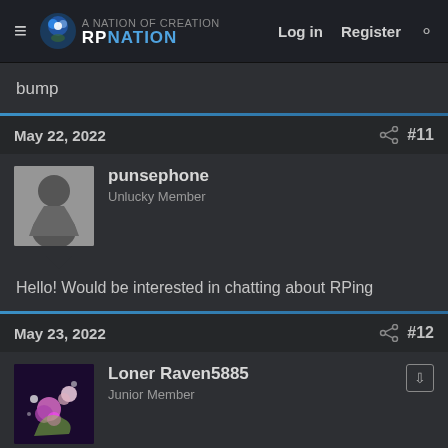RP Nation | Log in | Register
bump
May 22, 2022 #11
punsephone
Unlucky Member
Hello! Would be interested in chatting about RPing
May 23, 2022 #12
Loner Raven5885
Junior Member